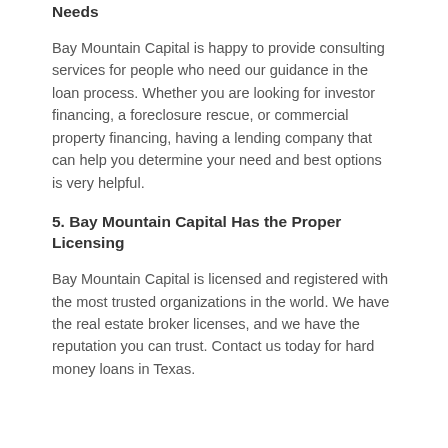Needs
Bay Mountain Capital is happy to provide consulting services for people who need our guidance in the loan process. Whether you are looking for investor financing, a foreclosure rescue, or commercial property financing, having a lending company that can help you determine your need and best options is very helpful.
5. Bay Mountain Capital Has the Proper Licensing
Bay Mountain Capital is licensed and registered with the most trusted organizations in the world. We have the real estate broker licenses, and we have the reputation you can trust. Contact us today for hard money loans in Texas.